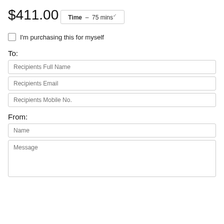$411.00
Time – 75 mins
I'm purchasing this for myself
To:
Recipients Full Name
Recipients Email
Recipients Mobile No.
From:
Name
Message